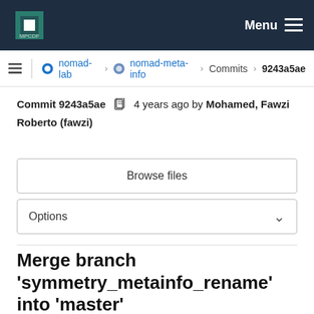MPCDF Menu
nomad-lab > nomad-meta-info > Commits > 9243a5ae
Commit 9243a5ae  4 years ago by Mohamed, Fawzi Roberto (fawzi)
Browse files
Options
Merge branch 'symmetry_metainfo_rename' into 'master'
Symmetry metainfo renaming and restructuring.

See merge request !5